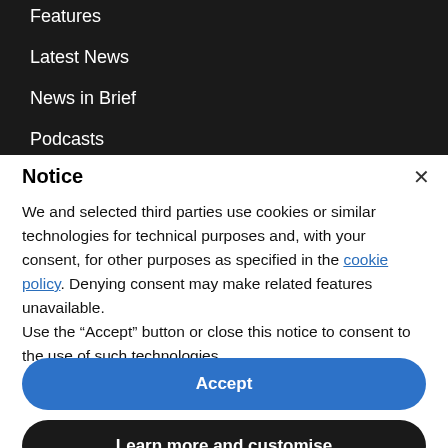Features
Latest News
News in Brief
Podcasts
Tips
Notice
We and selected third parties use cookies or similar technologies for technical purposes and, with your consent, for other purposes as specified in the cookie policy. Denying consent may make related features unavailable.
Use the “Accept” button or close this notice to consent to the use of such technologies.
Accept
Learn more and customise